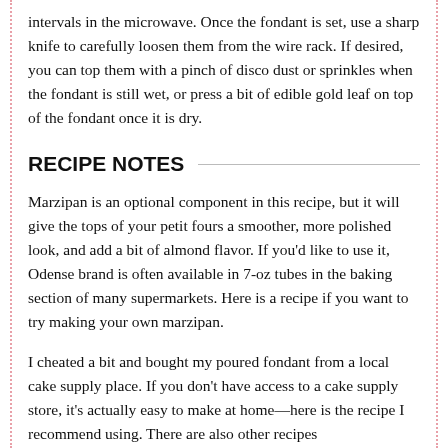intervals in the microwave. Once the fondant is set, use a sharp knife to carefully loosen them from the wire rack. If desired, you can top them with a pinch of disco dust or sprinkles when the fondant is still wet, or press a bit of edible gold leaf on top of the fondant once it is dry.
RECIPE NOTES
Marzipan is an optional component in this recipe, but it will give the tops of your petit fours a smoother, more polished look, and add a bit of almond flavor. If you'd like to use it, Odense brand is often available in 7-oz tubes in the baking section of many supermarkets. Here is a recipe if you want to try making your own marzipan.
I cheated a bit and bought my poured fondant from a local cake supply place. If you don't have access to a cake supply store, it's actually easy to make at home—here is the recipe I recommend using. There are also other recipes